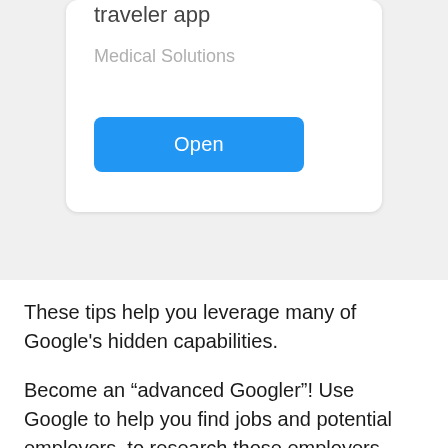[Figure (screenshot): A mobile app store card showing 'traveler app' title, 'Medical Solutions' subtitle in gray, and a blue 'Open' button]
These tips help you leverage many of Google's hidden capabilities.
Become an “advanced Googler”! Use Google to help you find jobs and potential employers, to research those employers (financial stability,